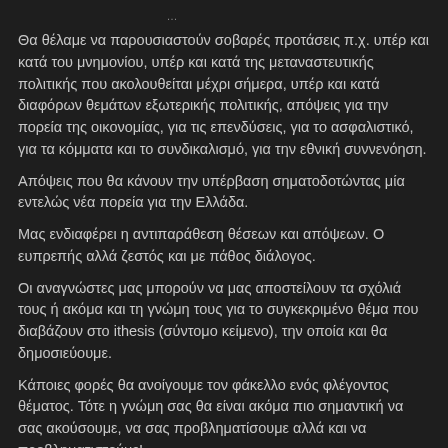…
Θα θέλαμε να παρουσιαστούν σοβαρές προτάσεις π.χ. υπέρ και κατά του μνημονίου, υπέρ και κατά της μεταναστευτικής πολιτικής που ακολουθείται μέχρι σήμερα, υπέρ και κατά διαφόρων θεμάτων εξωτερικής πολιτικής, απόψεις για την πορεία της οικονομίας, για τις επενδύσεις, για το ασφαλιστικό, για τα κόμματα και το συνδικαλισμό, για την εθνική συννενόηση.
Απόψεις που θα κάνουν την υπέρβαση σηματοδοτώντας μία εντελώς νέα πορεία για την Ελλάδα.
Μας ενδιαφέρει η αντιπαράθεση θέσεων και απόψεων. Ο ευπρεπής αλλά ζεστός και με πάθος διάλογος.
Οι αναγνώστες μας μπορούν να μας αποστείλουν τα σχόλιά τους ή ακόμα και τη γνώμη τους για το συγκεκριμένο θέμα που διαβάζουν στο ithesis (σύντομο κείμενο), την οποία και θα δημοσιεύουμε.
Κάποιες φορές θα ανοίγουμε τον φάκελλο ενός φλέγοντος θέματος. Τότε η γνώμη σας θα είναι ακόμα πιο σημαντική να σας ακούσουμε, να σας προβληματίσουμε αλλά και να προβληματιστούμε!
…